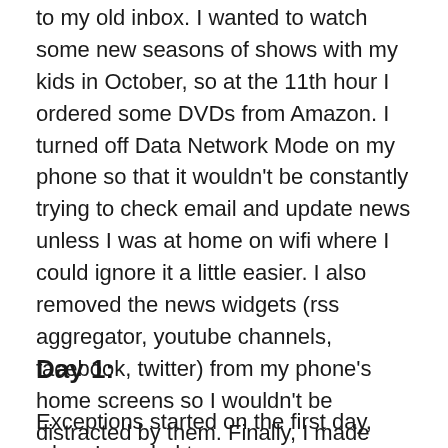to my old inbox. I wanted to watch some new seasons of shows with my kids in October, so at the 11th hour I ordered some DVDs from Amazon. I turned off Data Network Mode on my phone so that it wouldn't be constantly trying to check email and update news unless I was at home on wifi where I could ignore it a little easier. I also removed the news widgets (rss aggregator, youtube channels, facebook, twitter) from my phone's home screens so I wouldn't be distracted by them. Finally, I made sure all of my podcast subscriptions were current and downloaded to my phone for listening (I don't consider this a cheat as I used to listen to the radio and mixtapes on a portable cassette player two decades ago).
Day 1:
Exceptions started on the first day, when I needed to